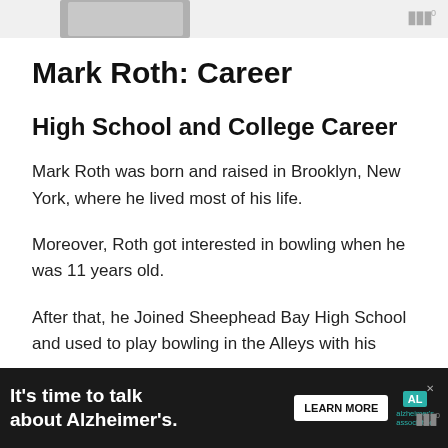[Figure (photo): Partial photo of people visible at top of page, cropped]
Mark Roth: Career
High School and College Career
Mark Roth was born and raised in Brooklyn, New York, where he lived most of his life.
Moreover, Roth got interested in bowling when he was 11 years old.
After that, he Joined Sheephead Bay High School and used to play bowling in the Alleys with his
[Figure (screenshot): Advertisement bar: It's time to talk about Alzheimer's. with LEARN MORE button and Alzheimer's Association logo]